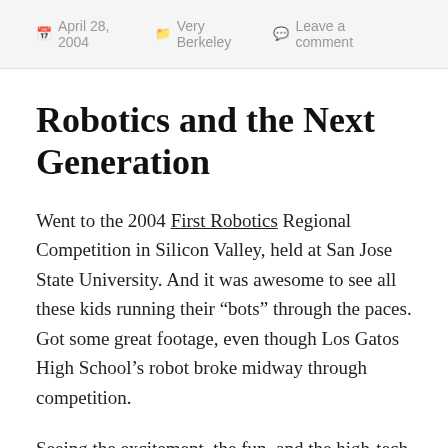April 28, 2004  Very Berkeley  Leave a comment
Robotics and the Next Generation
Went to the 2004 First Robotics Regional Competition in Silicon Valley, held at San Jose State University. And it was awesome to see all these kids running their “bots” through the paces. Got some great footage, even though Los Gatos High School’s robot broke midway through competition.
Seeing the excitement, the fun, and the high-tech hijinks reminded me of the days when we were putting together workstations on-the-fly in a